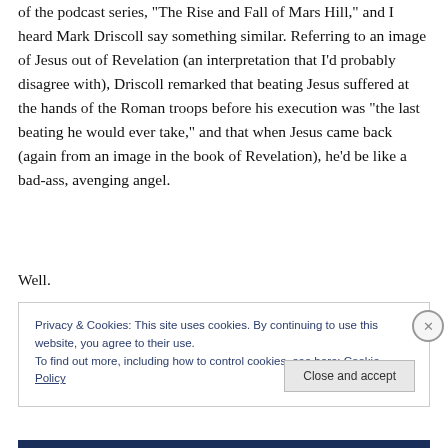of the podcast series, "The Rise and Fall of Mars Hill," and I heard Mark Driscoll say something similar. Referring to an image of Jesus out of Revelation (an interpretation that I'd probably disagree with), Driscoll remarked that beating Jesus suffered at the hands of the Roman troops before his execution was "the last beating he would ever take," and that when Jesus came back (again from an image in the book of Revelation), he'd be like a bad-ass, avenging angel.
Well.
Privacy & Cookies: This site uses cookies. By continuing to use this website, you agree to their use.
To find out more, including how to control cookies, see here: Cookie Policy